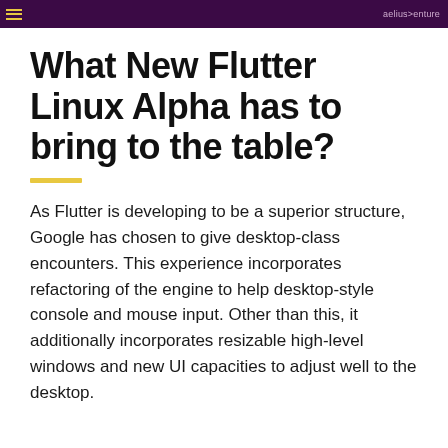aelius>enture
What New Flutter Linux Alpha has to bring to the table?
As Flutter is developing to be a superior structure, Google has chosen to give desktop-class encounters. This experience incorporates refactoring of the engine to help desktop-style console and mouse input. Other than this, it additionally incorporates resizable high-level windows and new UI capacities to adjust well to the desktop.